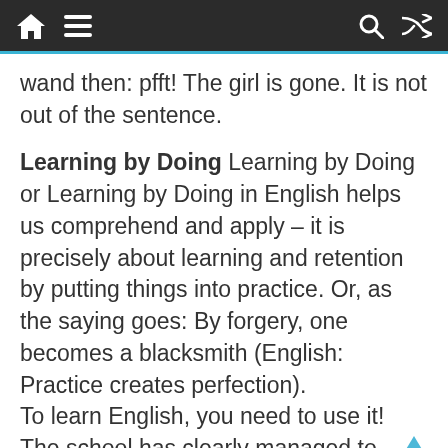[navigation bar with home, menu, search, shuffle icons]
wand then: pfft! The girl is gone. It is not out of the sentence.
Learning by Doing Learning by Doing or Learning by Doing in English helps us comprehend and apply – it is precisely about learning and retention by putting things into practice. Or, as the saying goes: By forgery, one becomes a blacksmith (English: Practice creates perfection).
To learn English, you need to use it! The school has clearly managed to,